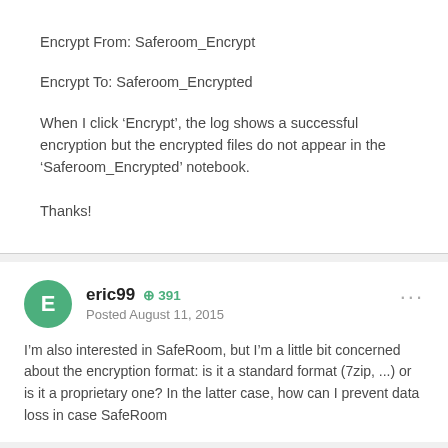Encrypt From: Saferoom_Encrypt
Encrypt To: Saferoom_Encrypted
When I click ‘Encrypt’, the log shows a successful encryption but the encrypted files do not appear in the ‘Saferoom_Encrypted’ notebook.
Thanks!
eric99  ⊕ 391
Posted August 11, 2015
I’m also interested in SafeRoom, but I’m a little bit concerned about the encryption format: is it a standard format (7zip, ...) or is it a proprietary one? In the latter case, how can I prevent data loss in case SafeRoom